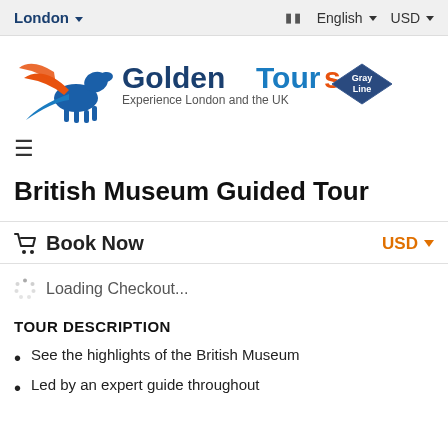London  English  USD
[Figure (logo): Golden Tours - Gray Line logo with Pegasus mascot. Text: GoldenTours Experience London and the UK, Gray Line diamond badge.]
British Museum Guided Tour
Book Now  USD
Loading Checkout...
TOUR DESCRIPTION
See the highlights of the British Museum
Led by an expert guide throughout